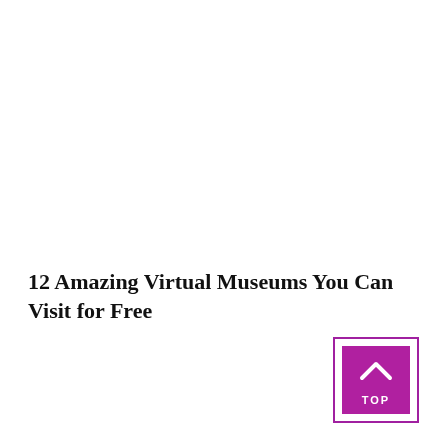12 Amazing Virtual Museums You Can Visit for Free
[Figure (other): Purple/magenta square button with upward-pointing chevron arrow and the word TOP, with a purple border outline around it]